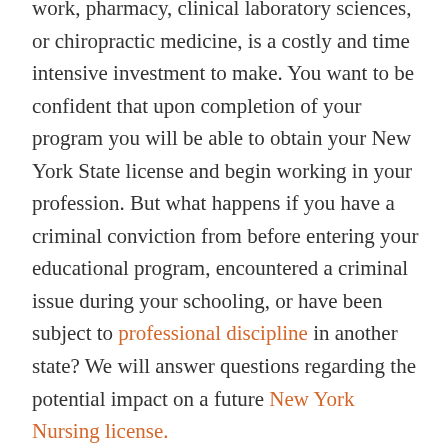work, pharmacy, clinical laboratory sciences, or chiropractic medicine, is a costly and time intensive investment to make. You want to be confident that upon completion of your program you will be able to obtain your New York State license and begin working in your profession. But what happens if you have a criminal conviction from before entering your educational program, encountered a criminal issue during your schooling, or have been subject to professional discipline in another state? We will answer questions regarding the potential impact on a future New York Nursing license.